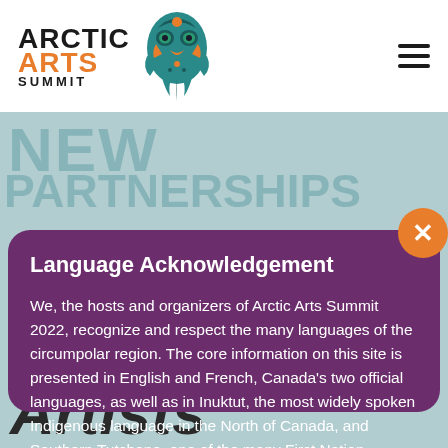[Figure (logo): Arctic Arts Summit logo with Indigenous totem/mask artwork and hamburger menu icon]
Language Acknowledgement
We, the hosts and organizers of Arctic Arts Summit 2022, recognize and respect the many languages of the circumpolar region. The core information on this site is presented in English and French, Canada’s two official languages, as well as in Inuktut, the most widely spoken Indigenous language in the North of Canada, and Southern Tutchone, one of the many First Nation languages in Yukon and the language of the nations on whose territory the in-person Summit